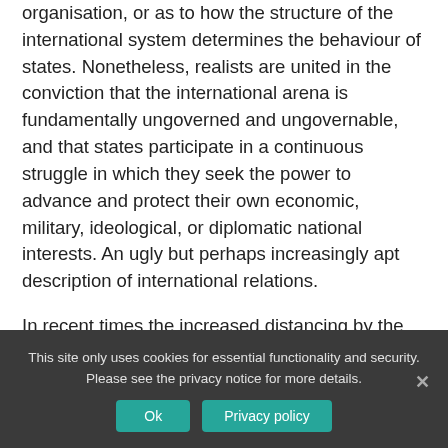organisation, or as to how the structure of the international system determines the behaviour of states. Nonetheless, realists are united in the conviction that the international arena is fundamentally ungoverned and ungovernable, and that states participate in a continuous struggle in which they seek the power to advance and protect their own economic, military, ideological, or diplomatic national interests. An ugly but perhaps increasingly apt description of international relations.

In recent times the increased distancing by the US from international institutions of its own creation has
This site only uses cookies for essential functionality and security. Please see the privacy notice for more details.